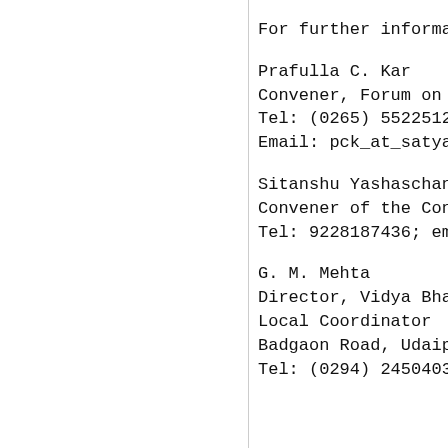For further information, a
Prafulla C. Kar
Convener, Forum on Con
Tel: (0265) 5522512 (offi
Email: pck_at_satyam.ne
Sitanshu Yashaschandra
Convener of the Confere
Tel: 9228187436; email:
G. M. Mehta
Director, Vidya Bhawan R
Local Coordinator
Badgaon Road, Udaipur 3
Tel: (0294) 2450403 and
==========